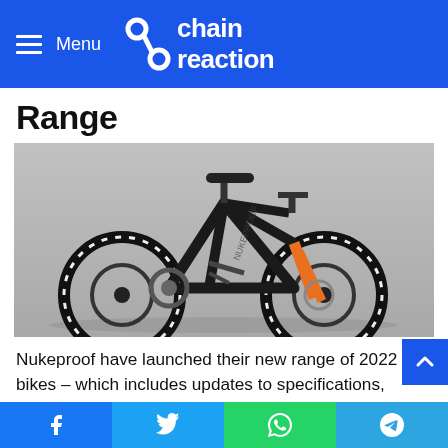Menu — chain reaction
Range
[Figure (photo): A black and orange full-suspension mountain bike photographed against a grey concrete wall background.]
Nukeproof have launched their new range of 2022 bikes – which includes updates to specifications, components and colourways – which will be available soon from Chain Reaction.